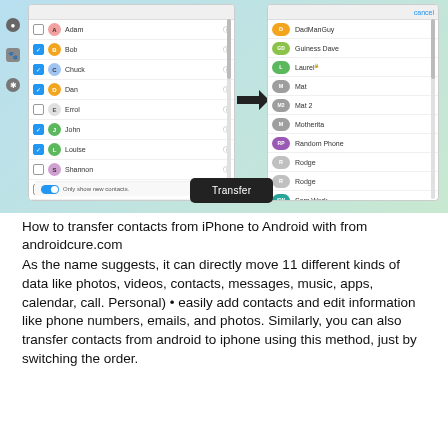[Figure (screenshot): Screenshot showing a contacts transfer app interface with two phone panels. Left panel lists contacts (Adam, Bob, Chuck, Dan, Errol, John, Louise, Shannon, Stan) with checkboxes — Bob, Chuck, Dan, John, Louise checked. An arrow points right to the second panel showing destination contacts (DadManGuy, Guiness Dave, Laurel, Mat, Mat 2, Motherita, Random Phone, Rodge, Rodge, Sam Work). A 'Transfer' button appears at the bottom center. Toggle for 'Only show new contacts' is visible on the left panel.]
How to transfer contacts from iPhone to Android with from androidcure.com
As the name suggests, it can directly move 11 different kinds of data like photos, videos, contacts, messages, music, apps, calendar, call. Personal) • easily add contacts and edit information like phone numbers, emails, and photos. Similarly, you can also transfer contacts from android to iphone using this method, just by switching the order.